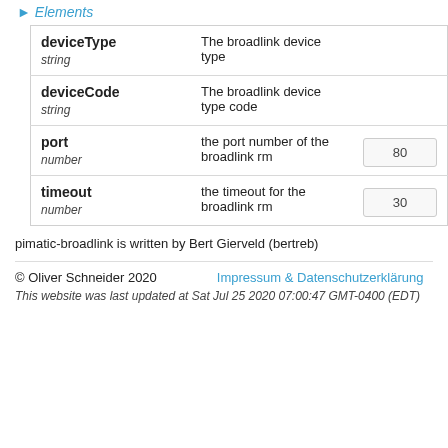▶ Elements
| Parameter | Description | Default |
| --- | --- | --- |
| deviceType
string | The broadlink device type |  |
| deviceCode
string | The broadlink device type code |  |
| port
number | the port number of the broadlink rm | 80 |
| timeout
number | the timeout for the broadlink rm | 30 |
pimatic-broadlink is written by Bert Gierveld (bertreb)
© Oliver Schneider 2020    Impressum & Datenschutzerklärung
This website was last updated at Sat Jul 25 2020 07:00:47 GMT-0400 (EDT)